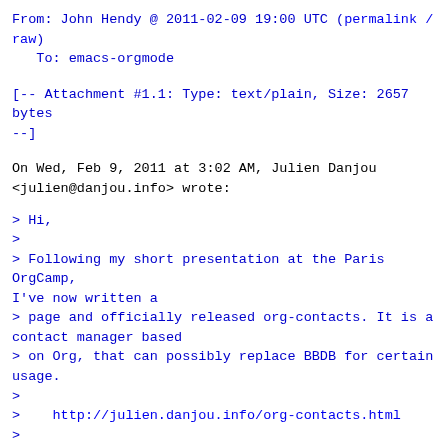From: John Hendy @ 2011-02-09 19:00 UTC (permalink / raw)
   To: emacs-orgmode
[-- Attachment #1.1: Type: text/plain, Size: 2657 bytes --]
On Wed, Feb 9, 2011 at 3:02 AM, Julien Danjou <julien@danjou.info> wrote:
> Hi,
>
> Following my short presentation at the Paris OrgCamp, I've now written a
> page and officially released org-contacts. It is a contact manager based
> on Org, that can possibly replace BBDB for certain usage.
>
>    http://julien.danjou.info/org-contacts.html
>
>
This is awesome. I was using bbdb but got tired of it. I switched to the contacts method mentioned on the mailing list a time ago about just doing something like this (which is also the approx format you've used):